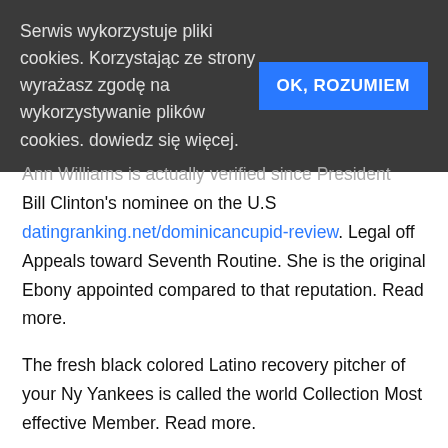Serwis wykorzystuje pliki cookies. Korzystając ze strony wyrażasz zgodę na wykorzystywanie plików cookies. dowiedz się więcej.
OK, ROZUMIEM
Ann Williams is actually verified since President Bill Clinton's nominee on the U.S datingranking.net/dominicancupid-review. Legal off Appeals toward Seventh Routine. She is the original Ebony appointed compared to that reputation. Read more.
The fresh black colored Latino recovery pitcher of your Ny Yankees is called the world Collection Most effective Member. Read more.